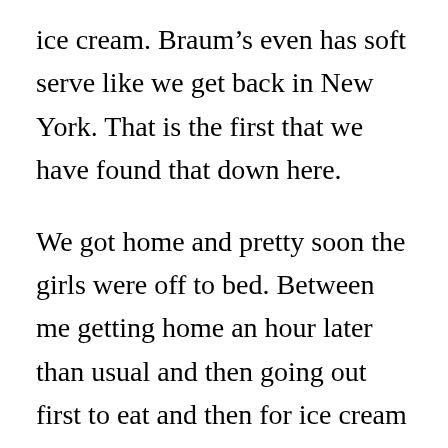ice cream.  Braum's even has soft serve like we get back in New York.  That is the first that we have found that down here.
We got home and pretty soon the girls were off to bed.  Between me getting home an hour later than usual and then going out first to eat and then for ice cream it was after eight when we got home.  So it was basically bed time.
Once the girls were in bed Dominica rented Warm Bodies on the AppleTV because